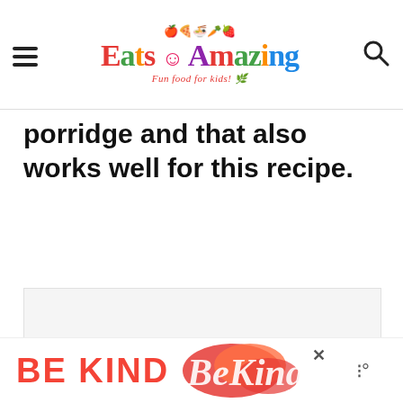Eats Amazing - Fun food for kids!
porridge and that also works well for this recipe.
[Figure (other): Advertisement placeholder area with three dots indicating loading content]
[Figure (other): Bottom banner advertisement showing BE KIND text with decorative red/orange floral typography and a close button, with wifi-like icon on right]